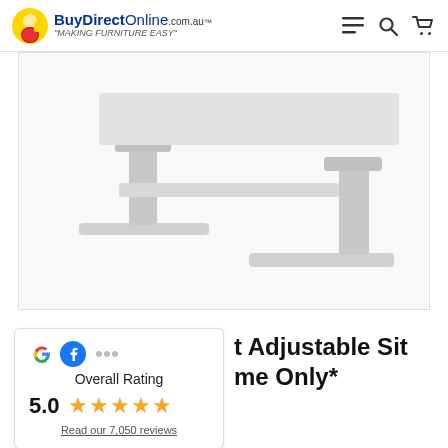BuyDirectOnline.com.au "MAKING FURNITURE EASY"
[Figure (photo): Product photo showing the base/legs of a sit-stand desk frame in white/grey metal, cropped to show the T-bar feet on a white background]
[Figure (infographic): Overall Rating widget: Google, Facebook and other platform icons, Overall Rating text, 5.0 score, five gold stars, Read our 7,050 reviews link]
t Adjustable Sit me Only*